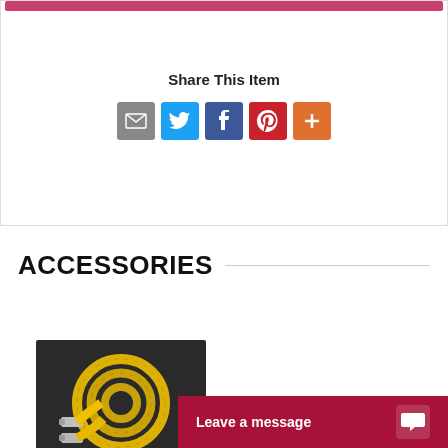Share This Item
[Figure (infographic): Social sharing icons: email (gray), Twitter (blue), Facebook (blue), Pinterest (red), More (orange)]
ACCESSORIES
[Figure (photo): Yellow flexible gas hose coiled on dark background with two metal fittings/connectors]
Leave a message